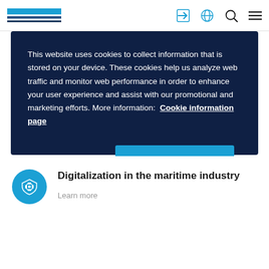This website uses cookies to collect information that is stored on your device. These cookies help us analyze web traffic and monitor web performance in order to enhance your user experience and assist with our promotional and marketing efforts. More information: Cookie information page
Cookies Settings
Accept All Cookies
Digitalization in the maritime industry
Learn more